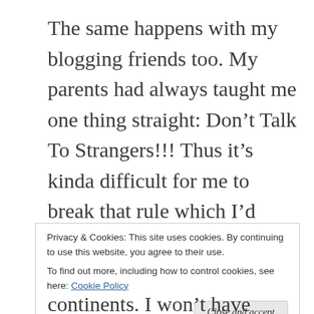The same happens with my blogging friends too. My parents had always taught me one thing straight: Don’t Talk To Strangers!!! Thus it’s kinda difficult for me to break that rule which I’d followed for years. I know they are my classmates but still, trust is not earned that easily and me being shy and too cautious, it’ll take more time. It’s sad knowing that’s my new normal.
Privacy & Cookies: This site uses cookies. By continuing to use this website, you agree to their use.
To find out more, including how to control cookies, see here: Cookie Policy
Close and accept
continents. I won’t have started blogging or